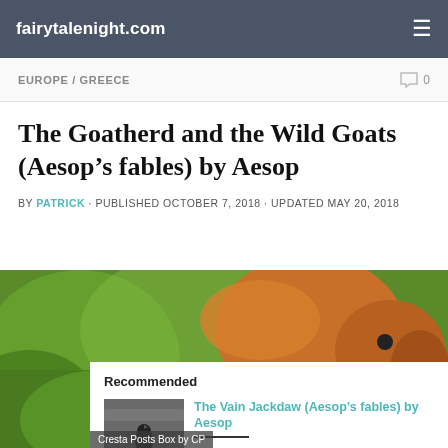fairytalenight.com
EUROPE / GREECE · 0
The Goatherd and the Wild Goats (Aesop's fables) by Aesop
BY PATRICK · PUBLISHED OCTOBER 7, 2018 · UPDATED MAY 20, 2018
[Figure (photo): Photo of a girl with red hair and green bokeh background]
Recommended
[Figure (photo): Small thumbnail of a jackdaw bird on a rooftop]
The Vain Jackdaw (Aesop's fables) by Aesop
JUPITER DETERMINED, it is said, to create a over...
Cresta Posts Box by CP